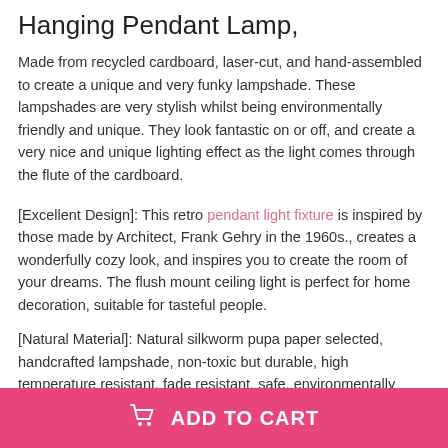Hanging Pendant Lamp,
Made from recycled cardboard, laser-cut, and hand-assembled to create a unique and very funky lampshade. These lampshades are very stylish whilst being environmentally friendly and unique. They look fantastic on or off, and create a very nice and unique lighting effect as the light comes through the flute of the cardboard.
[Excellent Design]: This retro pendant light fixture is inspired by those made by Architect, Frank Gehry in the 1960s., creates a wonderfully cozy look, and inspires you to create the room of your dreams. The flush mount ceiling light is perfect for home decoration, suitable for tasteful people.
[Natural Material]: Natural silkworm pupa paper selected, handcrafted lampshade, non-toxic but durable, high temperature resistant, fade resistant, safe, environmentally friendly, and healthy.
ADD TO CART